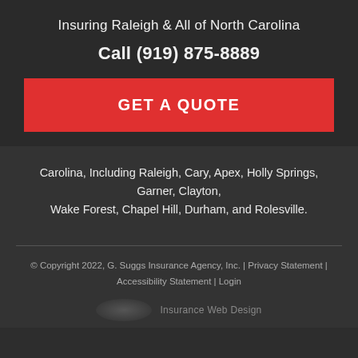Insuring Raleigh & All of North Carolina
Call (919) 875-8889
[Figure (other): Red button with text GET A QUOTE]
Carolina, Including Raleigh, Cary, Apex, Holly Springs, Garner, Clayton, Wake Forest, Chapel Hill, Durham, and Rolesville.
© Copyright 2022, G. Suggs Insurance Agency, Inc. | Privacy Statement | Accessibility Statement | Login
Insurance Web Design